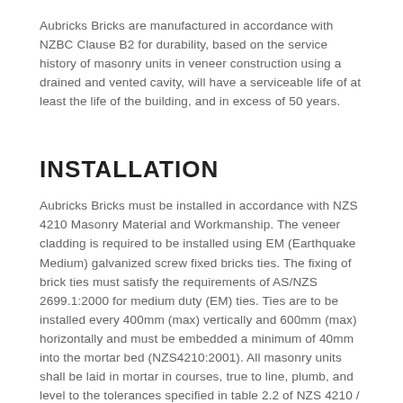Aubricks Bricks are manufactured in accordance with NZBC Clause B2 for durability, based on the service history of masonry units in veneer construction using a drained and vented cavity, will have a serviceable life of at least the life of the building, and in excess of 50 years.
INSTALLATION
Aubricks Bricks must be installed in accordance with NZS 4210 Masonry Material and Workmanship. The veneer cladding is required to be installed using EM (Earthquake Medium) galvanized screw fixed bricks ties. The fixing of brick ties must satisfy the requirements of AS/NZS 2699.1:2000 for medium duty (EM) ties. Ties are to be installed every 400mm (max) vertically and 600mm (max) horizontally and must be embedded a minimum of 40mm into the mortar bed (NZS4210:2001). All masonry units shall be laid in mortar in courses, true to line, plumb, and level to the tolerances specified in table 2.2 of NZS 4210 / table 11.5 of NZS 3604. The builder must be strengthen the